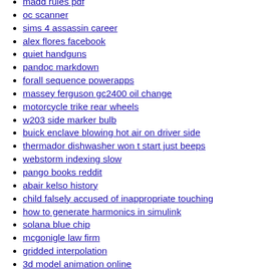madd rules pdf
oc scanner
sims 4 assassin career
alex flores facebook
quiet handguns
pandoc markdown
forall sequence powerapps
massey ferguson gc2400 oil change
motorcycle trike rear wheels
w203 side marker bulb
buick enclave blowing hot air on driver side
thermador dishwasher won t start just beeps
webstorm indexing slow
pango books reddit
abair kelso history
child falsely accused of inappropriate touching
how to generate harmonics in simulink
solana blue chip
mcgonigle law firm
gridded interpolation
3d model animation online
e92 for sale
xilinx axi ethernet dma
summoners war beginner guide 2022
satsang all for one lyrics